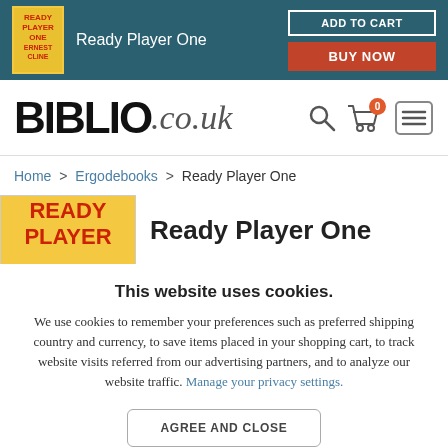Ready Player One — ADD TO CART | BUY NOW
[Figure (logo): Biblio.co.uk logo with search, cart (0), and menu icons]
Home > Ergodebooks > Ready Player One
Ready Player One
This website uses cookies. We use cookies to remember your preferences such as preferred shipping country and currency, to save items placed in your shopping cart, to track website visits referred from our advertising partners, and to analyze our website traffic. Manage your privacy settings.
AGREE AND CLOSE